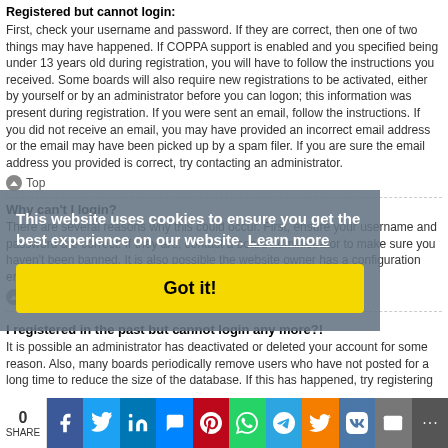Registered but cannot login:
First, check your username and password. If they are correct, then one of two things may have happened. If COPPA support is enabled and you specified being under 13 years old during registration, you will have to follow the instructions you received. Some boards will also require new registrations to be activated, either by yourself or by an administrator before you can logon; this information was present during registration. If you were sent an email, follow the instructions. If you did not receive an email, you may have provided an incorrect email address or the email may have been picked up by a spam filer. If you are sure the email address you provided is correct, try contacting an administrator.
Top
Why can't I login?
There are several reasons why this could occur. First, ensure your username and password are correct. If they are, contact a board administrator to make sure you haven't been banned. It is also possible the website owner has a configuration error on their end, and they would need to fix it.
Top
I registered in the past but cannot login any more?!
It is possible an administrator has deactivated or deleted your account for some reason. Also, many boards periodically remove users who have not posted for a long time to reduce the size of the database. If this has happened, try registering
This website uses cookies to ensure you get the best experience on our website. Learn more
Got it!